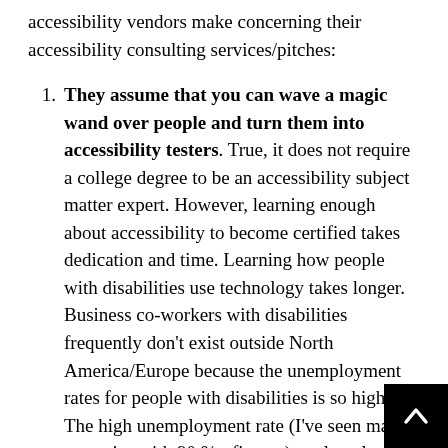accessibility vendors make concerning their accessibility consulting services/pitches:
They assume that you can wave a magic wand over people and turn them into accessibility testers. True, it does not require a college degree to be an accessibility subject matter expert. However, learning enough about accessibility to become certified takes dedication and time. Learning how people with disabilities use technology takes longer. Business co-workers with disabilities frequently don't exist outside North America/Europe because the unemployment rates for people with disabilities is so high. The high unemployment rate (I've seen many countries with 90 %+ figures) are largely due to inaccessible infrastructure and educational disadvantages. Fifty percent of blind children in China don't attend K-12 school, for